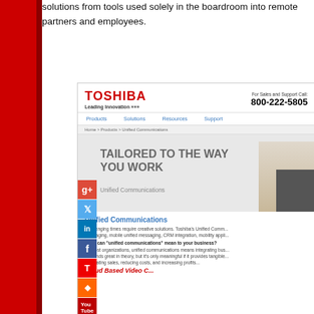solutions from tools used solely in the boardroom into remote partners and employees.
[Figure (screenshot): Screenshot of Toshiba website showing Unified Communications page with navigation, social media sidebar (Google+, Twitter, LinkedIn, Facebook, T, RSS, YouTube), hero banner 'TAILORED TO THE WAY YOU WORK' with Unified Communications subtitle, and lower content section with Unified Communications heading and descriptive text. Phone number 800-222-5805 shown in header.]